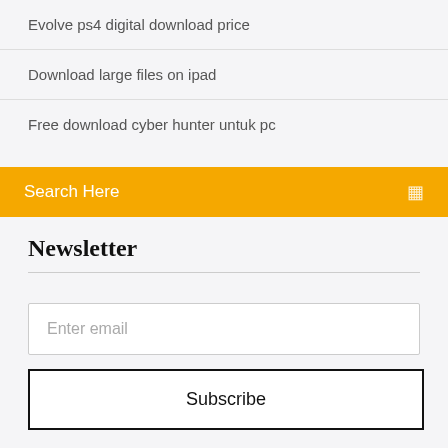Evolve ps4 digital download price
Download large files on ipad
Free download cyber hunter untuk pc
Search Here
Newsletter
Enter email
Subscribe